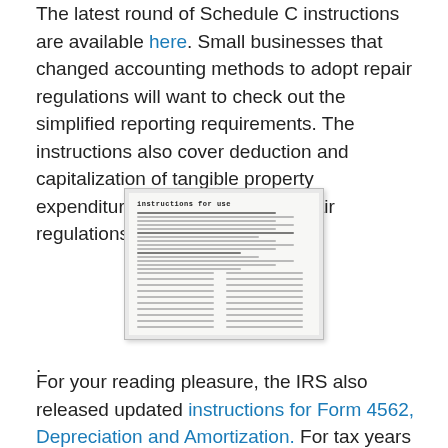The latest round of Schedule C instructions are available here. Small businesses that changed accounting methods to adopt repair regulations will want to check out the simplified reporting requirements. The instructions also cover deduction and capitalization of tangible property expenditures related to those repair regulations.
[Figure (photo): A thumbnail image of a document titled 'Instructions for use', showing dense small text arranged in columns, resembling a scanned instruction booklet page.]
.
For your reading pleasure, the IRS also released updated instructions for Form 4562, Depreciation and Amortization. For tax years beginning in 2015, the maximum Section